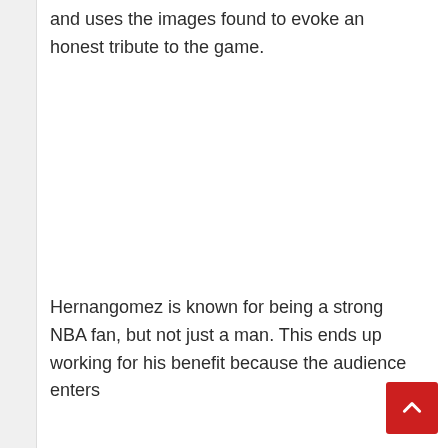and uses the images found to evoke an honest tribute to the game.
Hernangomez is known for being a strong NBA fan, but not just a man. This ends up working for his benefit because the audience enters